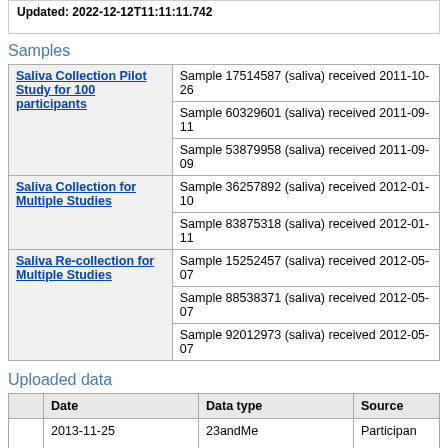Updated: 2012-12-12T11:11:11.742
Samples
| Study | Samples |
| --- | --- |
| Saliva Collection Pilot Study for 100 participants | Sample 17514587 (saliva) received 2011-10-26 |
|  | Sample 60329601 (saliva) received 2011-09-11 |
|  | Sample 53879958 (saliva) received 2011-09-09 |
| Saliva Collection for Multiple Studies | Sample 36257892 (saliva) received 2012-01-10 |
|  | Sample 83875318 (saliva) received 2012-01-11 |
| Saliva Re-collection for Multiple Studies | Sample 15252457 (saliva) received 2012-05-07 |
|  | Sample 88538371 (saliva) received 2012-05-07 |
|  | Sample 92012973 (saliva) received 2012-05-07 |
Uploaded data
|  | Date | Data type | Source |
| --- | --- | --- | --- |
|  | 2013-11-25 | 23andMe | Participan... |
Geographic Information